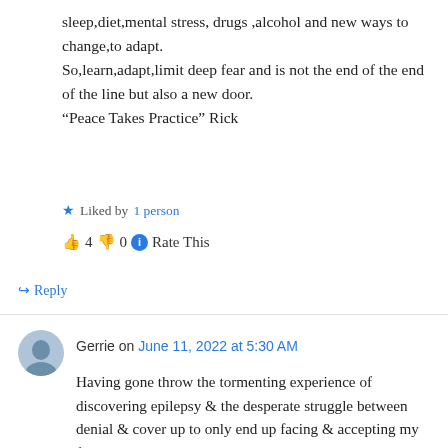sleep,diet,mental stress, drugs ,alcohol and new ways to change,to adapt.
So,learn,adapt,limit deep fear and is not the end of the end of the line but also a new door.
“Peace Takes Practice” Rick
★ Liked by 1 person
👍 4 👎 0 ⓘ Rate This
↳ Reply
Gerrie on June 11, 2022 at 5:30 AM
Having gone throw the tormenting experience of discovering epilepsy & the desperate struggle between denial & cover up to only end up facing & accepting my fate, I would suggest extensive